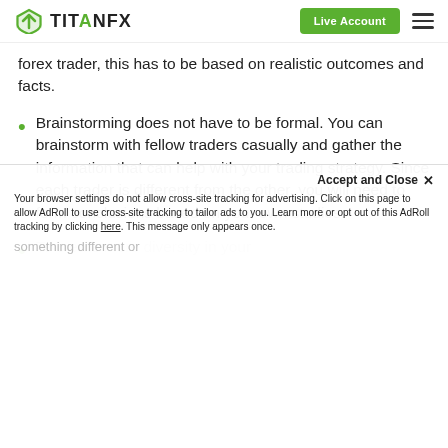TITANFX | Live Account
forex trader, this has to be based on realistic outcomes and facts.
Brainstorming does not have to be formal. You can brainstorm with fellow traders casually and gather the information that can help with your trading strategy. Since each trader is different from the other, you will need to form conclusions based on your own studies.
To create more diversity in your...
Accept and Close ✕ Your browser settings do not allow cross-site tracking for advertising. Click on this page to allow AdRoll to use cross-site tracking to tailor ads to you. Learn more or opt out of this AdRoll tracking by clicking here. This message only appears once.